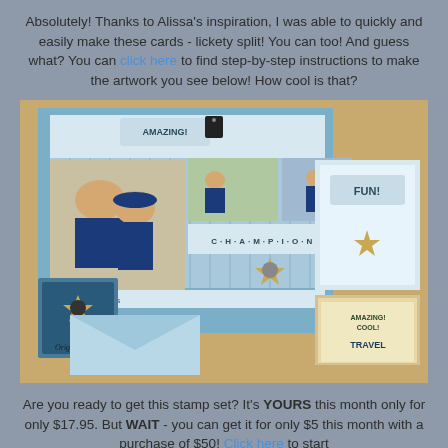Absolutely! Thanks to Alissa's inspiration, I was able to quickly and easily make these cards - lickety split! You can too! And guess what? You can click here to find step-by-step instructions to make the artwork you see below! How cool is that?
[Figure (photo): A crafted card and scrapbook layout featuring baseball-themed cards with photos of a woman with sunglasses and a boy in a baseball cap, plus action shots of a child playing baseball. Cards show text including 'AMAZING!', 'CHAMPIONS', 'FUN!', and 'Original'. A mini album and envelopes are also visible.]
Are you ready to get this stamp set? It's YOURS this month only for only $17.95. But WAIT - you can get it for only $5 this month with a purchase of $50! Click here to start